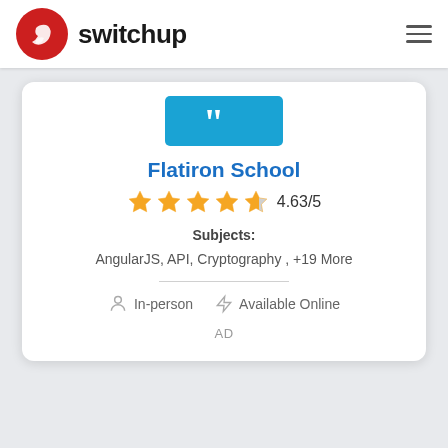[Figure (logo): Switchup website logo with red circular icon and 'switchup' text, plus hamburger menu icon on the right]
[Figure (illustration): Teal/blue banner with large white quotation mark]
Flatiron School
4.63/5 (star rating)
Subjects: AngularJS, API, Cryptography , +19 More
In-person   Available Online
AD